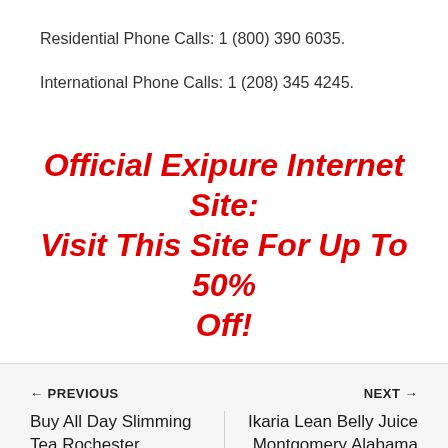Residential Phone Calls: 1 (800) 390 6035.
International Phone Calls: 1 (208) 345 4245.
Official Exipure Internet Site: Visit This Site For Up To 50% Off!
← PREVIOUS
Buy All Day Slimming Tea Rochester
NEXT →
Ikaria Lean Belly Juice Montgomery Alabama